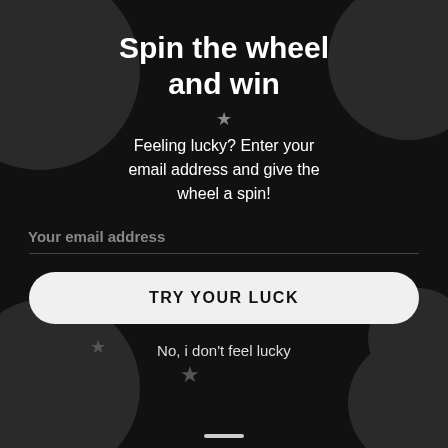Spin the wheel and win
Feeling lucky? Enter your email address and give the wheel a spin!
Your email address
TRY YOUR LUCK
No, i don't feel lucky